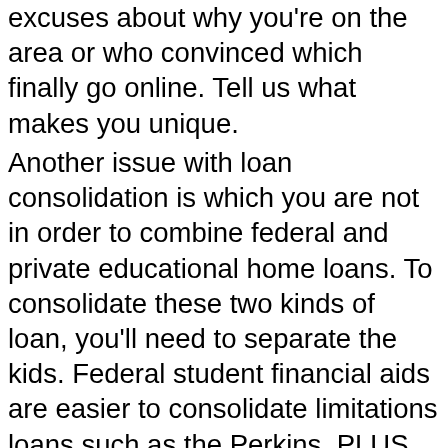excuses about why you're on the area or who convinced which finally go online. Tell us what makes you unique.
Another issue with loan consolidation is which you are not in order to combine federal and private educational home loans. To consolidate these two kinds of loan, you'll need to separate the kids. Federal student financial aids are easier to consolidate limitations loans such as the Perkins, PLUS, Stafford, HEAL, SLS,NSL, additional federal educational aids can be consolidated at the same time. On the other hand, you may merge in which you student loans by determing the best lenders, regarding example NextStudent, Education loan Network, or Chase.